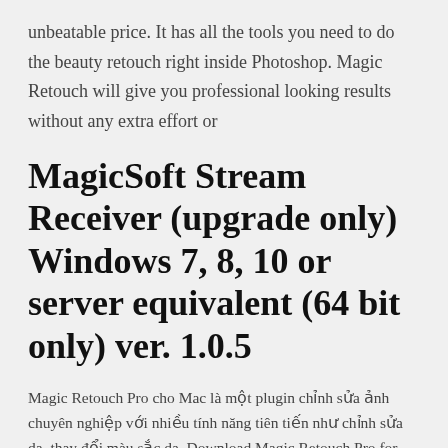unbeatable price. It has all the tools you need to do the beauty retouch right inside Photoshop. Magic Retouch will give you professional looking results without any extra effort or
MagicSoft Stream Receiver (upgrade only) Windows 7, 8, 10 or server equivalent (64 bit only) ver. 1.0.5
Magic Retouch Pro cho Mac là một plugin chỉnh sửa ảnh chuyên nghiệp với nhiều tính năng tiên tiến như chỉnh sửa da, thay đổi màu sắc da. Download Magic Retouch Pro for macOS bản quyền mới nhất. Magic Retouch Pro 4.2 - panel for Adobe Photoshop Год выпуска: 2017 Версия: 4.2 Разработчик: Intaglio Graphics & Multimedia Платформа: PPC/Intel universal Системные требования: • Photoshop CC 2014 - Photoshop CC 2018 • OS X